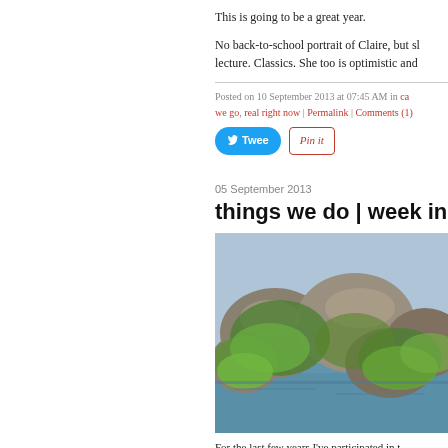This is going to be a great year.
No back-to-school portrait of Claire, but sl lecture. Classics. She too is optimistic and
Posted on 10 September 2013 at 07:45 AM in ca we go, real right now | Permalink | Comments (1)
Tweet  Pin it
05 September 2013
things we do | week in
[Figure (photo): Moss-covered rocks along a waterfront, green algae on large stones with calm water in the background.]
For the last few years I've participated in t